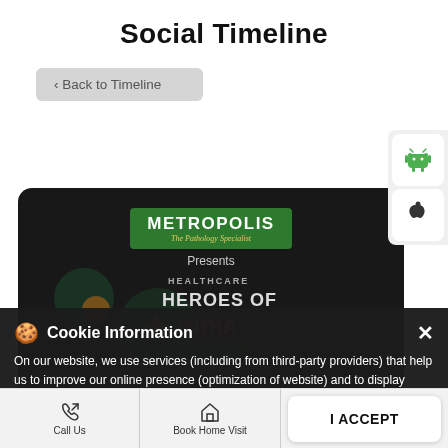Social Timeline
< Back to Timeline
[Figure (screenshot): Metropolis Healthcare dark card showing METROPOLIS The Pathology Specialist logo in green, text Presents, Healthcare Heroes of India 2 Edition overlay]
🍪 Cookie Information
On our website, we use services (including from third-party providers) that help us to improve our online presence (optimization of website) and to display content that is geared to their interests. We need your consent before being able to use these services.
Call Us   Book Home Visit   Directions   I ACCEPT